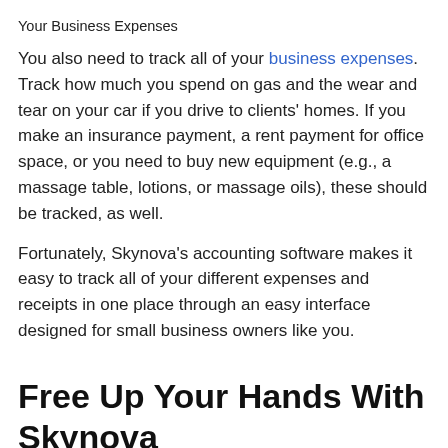Your Business Expenses
You also need to track all of your business expenses. Track how much you spend on gas and the wear and tear on your car if you drive to clients' homes. If you make an insurance payment, a rent payment for office space, or you need to buy new equipment (e.g., a massage table, lotions, or massage oils), these should be tracked, as well.
Fortunately, Skynova's accounting software makes it easy to track all of your different expenses and receipts in one place through an easy interface designed for small business owners like you.
Free Up Your Hands With Skynova
Now is the time for you to move forward with your professional vision. You know what you need to build and manage your business. Get started and reach for your goals today.